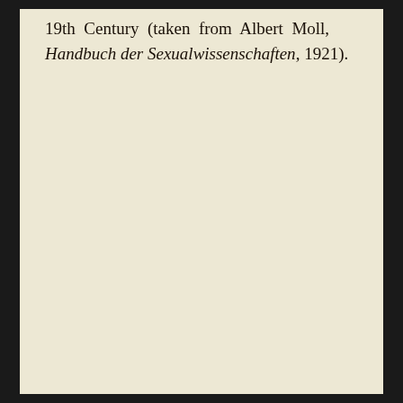19th Century (taken from Albert Moll, Handbuch der Sexualwissenschaften, 1921).